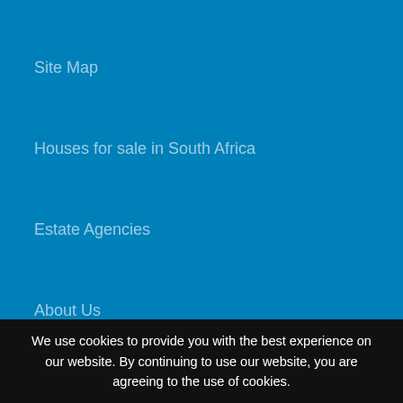Site Map
Houses for sale in South Africa
Estate Agencies
About Us
Our Blog
Contact Us
Twitter
Facebook
We use cookies to provide you with the best experience on our website. By continuing to use our website, you are agreeing to the use of cookies.